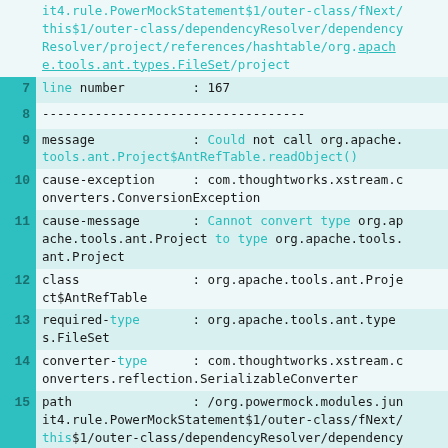it4.rule.PowerMockStatement$1/outer-class/fNext/this$1/outer-class/dependencyResolver/dependencyResolver/project/references/hashtable/org.apache.tools.ant.types.FileSet/project
7  line number      : 167
8  -----------------------------------
9  message           : Could not call org.apache.tools.ant.Project$AntRefTable.readObject()
10 cause-exception   : com.thoughtworks.xstream.converters.ConversionException
11 cause-message      : Cannot convert type org.apache.tools.ant.Project to type org.apache.tools.ant.Project
12 class             : org.apache.tools.ant.Project$AntRefTable
13 required-type      : org.apache.tools.ant.types.FileSet
14 converter-type     : com.thoughtworks.xstream.converters.reflection.SerializableConverter
15 path              : /org.powermock.modules.junit4.rule.PowerMockStatement$1/outer-class/fNext/this$1/outer-class/dependencyResolver/dependencyResolver/project/references/hashtable/org.apache.tools.ant.types.FileSet/project
16 line number        : 167
17 class[1]           : org.apache.tools.ant.Project
18 converter-type[1]  : com.thoughtworks.xstream.converters.reflection.ReflectionConverter
19 class[2]           : org.robolectric.internal.d